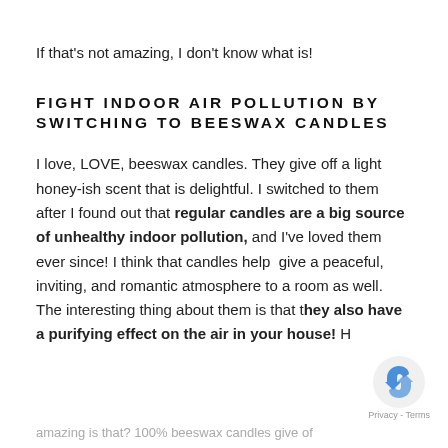If that's not amazing, I don't know what is!
FIGHT INDOOR AIR POLLUTION BY SWITCHING TO BEESWAX CANDLES
I love, LOVE, beeswax candles. They give off a light honey-ish scent that is delightful. I switched to them after I found out that regular candles are a big source of unhealthy indoor pollution, and I've loved them ever since! I think that candles help  give a peaceful, inviting, and romantic atmosphere to a room as well. The interesting thing about them is that they also have a purifying effect on the air in your house! How amazing is that? 100% beeswax candles give of
amazing is that? 100% beeswax candles give of